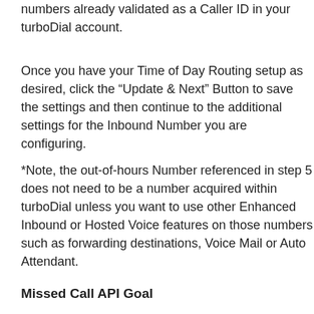If you choose a Caller ID in this step it must be one of the numbers already validated as a Caller ID in your turboDial account.
Once you have your Time of Day Routing setup as desired, click the “Update & Next” Button to save the settings and then continue to the additional settings for the Inbound Number you are configuring.
*Note, the out-of-hours Number referenced in step 5 does not need to be a number acquired within turboDial unless you want to use other Enhanced Inbound or Hosted Voice features on those numbers such as forwarding destinations, Voice Mail or Auto Attendant.
Missed Call API Goal